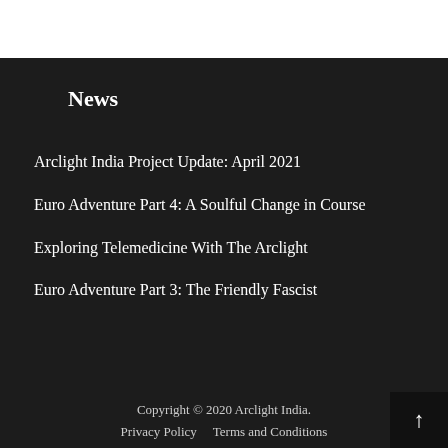News
Arclight India Project Update: April 2021
Euro Adventure Part 4: A Soulful Change in Course
Exploring Telemedicine With The Arclight
Euro Adventure Part 3: The Friendly Fascist
Copyright © 2020 Arclight India.
Privacy Policy    Terms and Conditions